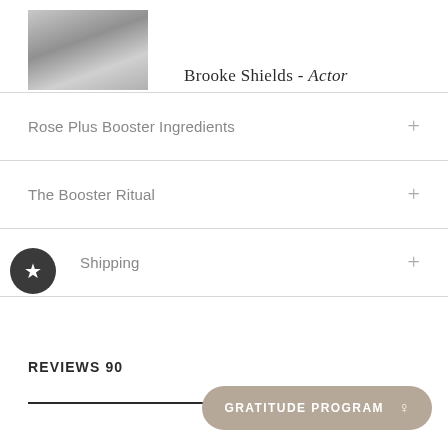[Figure (photo): Grayscale photo of Brooke Shields]
Brooke Shields - Actor
Rose Plus Booster Ingredients +
The Booster Ritual +
Shipping +
REVIEWS 90
GRATITUDE PROGRAM